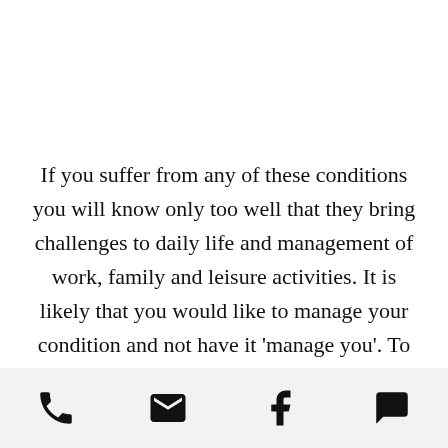If you suffer from any of these conditions you will know only too well that they bring challenges to daily life and management of work, family and leisure activities. It is likely that you would like to manage your condition and not have it 'manage you'. To live your best life with knowledge,
[Figure (other): Mobile app bottom navigation bar with four icons: phone, email/envelope, Facebook 'f', and speech bubble/chat]